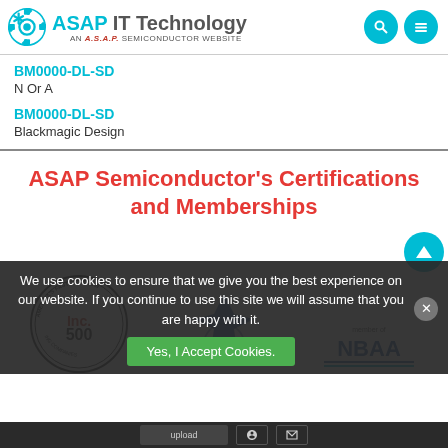[Figure (logo): ASAP IT Technology logo with gear icon and 'AN A.S.A.P. SEMICONDUCTOR WEBSITE' subtitle]
BM0000-DL-SD
N Or A
BM0000-DL-SD
Blackmagic Design
ASAP Semiconductor's Certifications and Memberships
[Figure (logo): Inc 500 America's Fastest Growing Companies badge, ASA logo, NBAA member logo]
We use cookies to ensure that we give you the best experience on our website. If you continue to use this site we will assume that you are happy with it.
Yes, I Accept Cookies.